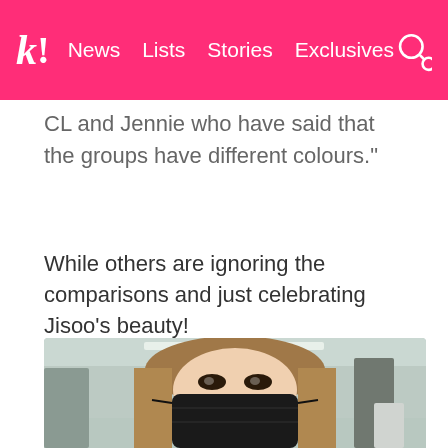k! | News | Lists | Stories | Exclusives
CL and Jennie who have said that the groups have different colours."
While others are ignoring the comparisons and just celebrating Jisoo’s beauty!
[Figure (photo): Photo of Jisoo wearing a black face mask at an airport, with long brown hair, other people and airport background visible]